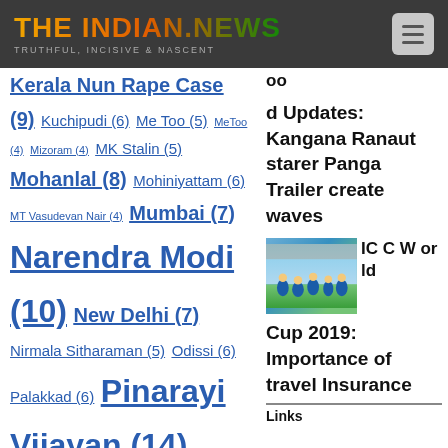THE INDIAN.NEWS — TRUTHFUL, INCISIVE & NASCENT
Kerala Nun Rape Case (9) Kuchipudi (6) Me Too (5) MeToo (4) Mizoram (4) MK Stalin (5) Mohanlal (8) Mohiniyattam (6) MT Vasudevan Nair (4) Mumbai (7) Narendra Modi (10) New Delhi (7) Nirmala Sitharaman (5) Odissi (6) Palakkad (6) Pinarayi Vijayan (14) Rahul Gandhi (5) RSS (8) Sabarimala protest (4) Sharjah International Book Fair 2019 (6) SIBF
oo d Updates: Kangana Ranaut starer Panga Trailer create waves
[Figure (photo): India cricket team players in blue jerseys celebrating on field]
ICC World Cup 2019: Importance of travel Insurance
Links